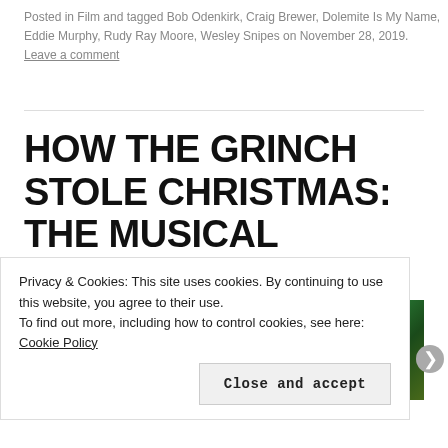Posted in Film and tagged Bob Odenkirk, Craig Brewer, Dolemite Is My Name, Eddie Murphy, Rudy Ray Moore, Wesley Snipes on November 28, 2019. Leave a comment
HOW THE GRINCH STOLE CHRISTMAS: THE MUSICAL
[Figure (photo): Two side-by-side production photos from How the Grinch Stole Christmas: The Musical. Left image shows a red-costumed figure on a dark stage set. Right image shows the Grinch character in a green and red costume.]
Privacy & Cookies: This site uses cookies. By continuing to use this website, you agree to their use.
To find out more, including how to control cookies, see here: Cookie Policy
Close and accept